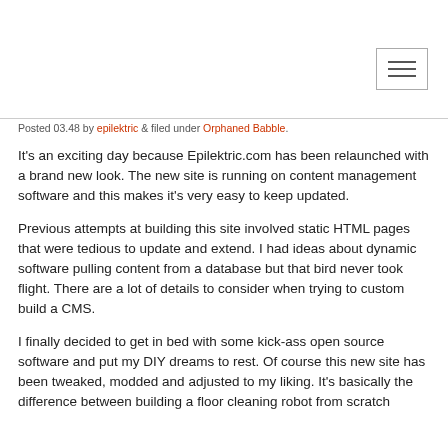Posted 03.48 by epilektric & filed under Orphaned Babble.
It's an exciting day because Epilektric.com has been relaunched with a brand new look. The new site is running on content management software and this makes it's very easy to keep updated.
Previous attempts at building this site involved static HTML pages that were tedious to update and extend. I had ideas about dynamic software pulling content from a database but that bird never took flight. There are a lot of details to consider when trying to custom build a CMS.
I finally decided to get in bed with some kick-ass open source software and put my DIY dreams to rest. Of course this new site has been tweaked, modded and adjusted to my liking. It's basically the difference between building a floor cleaning robot from scratch and...